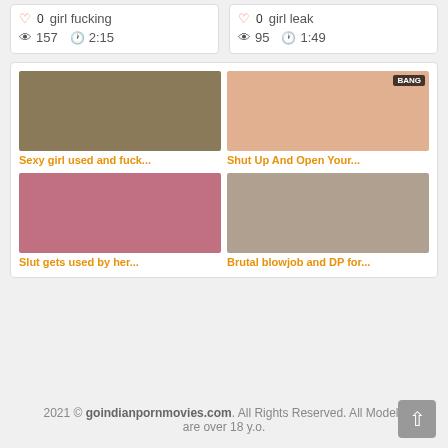girl fucking — 0 likes, 157 views, 2:15
girl leak — 0 likes, 95 views, 1:49
[Figure (screenshot): 2x2 grid of video thumbnails with titles: Sexy girl used and fuck..., Shut Up And Open Your..., Slut gets used by her..., Brutal blowjob and DP for...]
2021 © goindianpornmovies.com. All Rights Reserved. All Models are over 18 y.o.